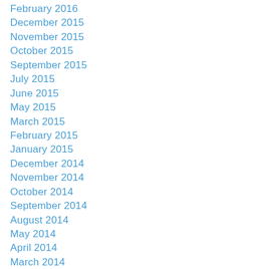February 2016
December 2015
November 2015
October 2015
September 2015
July 2015
June 2015
May 2015
March 2015
February 2015
January 2015
December 2014
November 2014
October 2014
September 2014
August 2014
May 2014
April 2014
March 2014
February 2014